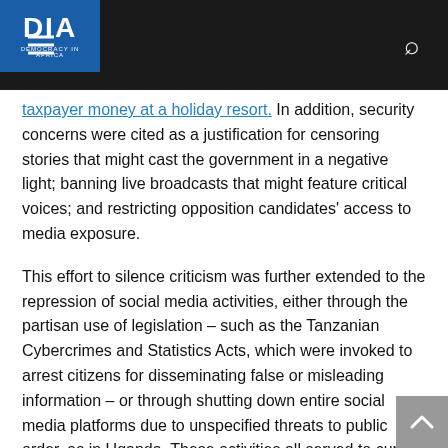DIA — Democracy in Africa
taxpayer money at a holiday resort. In addition, security concerns were cited as a justification for censoring stories that might cast the government in a negative light; banning live broadcasts that might feature critical voices; and restricting opposition candidates' access to media exposure.
This effort to silence criticism was further extended to the repression of social media activities, either through the partisan use of legislation – such as the Tanzanian Cybercrimes and Statistics Acts, which were invoked to arrest citizens for disseminating false or misleading information – or through shutting down entire social media platforms due to unspecified threats to public order, as in Uganda. These activities all served to curtail freedom of expression – a crucial component of free and fair elections – and allowed the incumbent regimes to maintain some